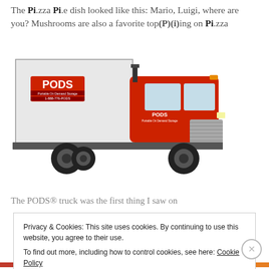The Pi.zza Pi.e dish looked like this: Mario, Luigi, where are you? Mushrooms are also a favorite top(P)(i)ing on Pi.zza
[Figure (photo): A red PODS truck with a white moving container on the back, featuring the PODS logo in red on the container. The truck is a large commercial vehicle.]
The PODS® truck was the first thing I saw on
Privacy & Cookies: This site uses cookies. By continuing to use this website, you agree to their use.
To find out more, including how to control cookies, see here: Cookie Policy